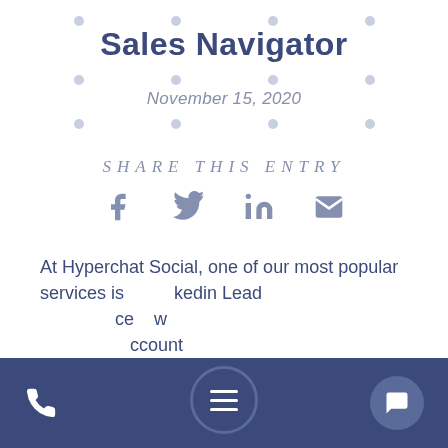Sales Navigator
November 15, 2020
SHARE THIS ENTRY
[Figure (infographic): Social share icons: Facebook, Twitter, LinkedIn, Email]
At Hyperchat Social, one of our most popular services is LinkedIn Lead ... account
Phone icon | Menu button | Chat button